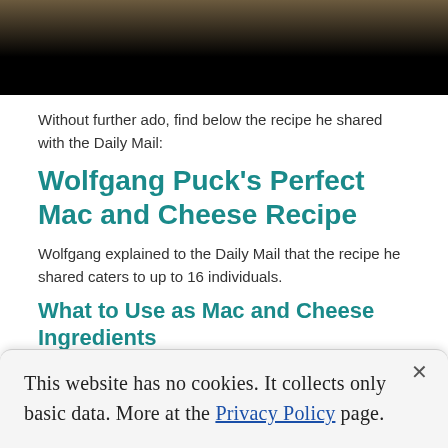[Figure (photo): Top portion of a food photograph, mostly dark/black background with brown food tones visible at top edge]
Without further ado, find below the recipe he shared with the Daily Mail:
Wolfgang Puck's Perfect Mac and Cheese Recipe
Wolfgang explained to the Daily Mail that the recipe he shared caters to up to 16 individuals.
What to Use as Mac and Cheese Ingredients
3 boxes of cavatappi pasta, the tubular, short corkscrew shaped pasta that goes well when
This website has no cookies. It collects only basic data. More at the Privacy Policy page.